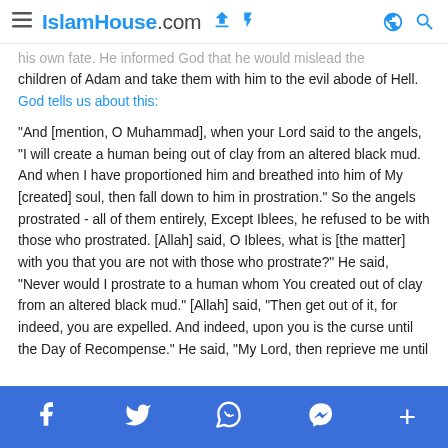IslamHouse.com
his own fate. He informed God that he would mislead the children of Adam and take them with him to the evil abode of Hell. God tells us about this:
"And [mention, O Muhammad], when your Lord said to the angels, "I will create a human being out of clay from an altered black mud. And when I have proportioned him and breathed into him of My [created] soul, then fall down to him in prostration." So the angels prostrated - all of them entirely, Except Iblees, he refused to be with those who prostrated. [Allah] said, O Iblees, what is [the matter] with you that you are not with those who prostrate?" He said, "Never would I prostrate to a human whom You created out of clay from an altered black mud." [Allah] said, "Then get out of it, for indeed, you are expelled. And indeed, upon you is the curse until the Day of Recompense." He said, "My Lord, then reprieve me until the Day they are resurrected." [Allah] said, "So indeed, you are of those reprieved. Until the Day of the time well-known." [Iblees] said, "My Lord, because You have put me in
Facebook Twitter WhatsApp Messenger +